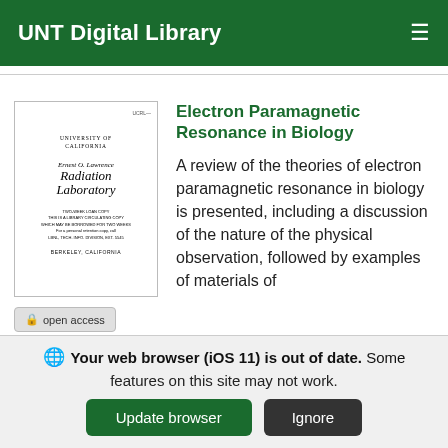UNT Digital Library
[Figure (illustration): Book cover thumbnail showing University of California, Ernest O. Lawrence Radiation Laboratory document with cursive script title, small text lines, and Berkeley California text]
Electron Paramagnetic Resonance in Biology
A review of the theories of electron paramagnetic resonance in biology is presented, including a discussion of the nature of the physical observation, followed by examples of materials of biological interest. Iq discussing these examples, information is presented in terms of the nature of
open access
Your web browser (iOS 11) is out of date. Some features on this site may not work.